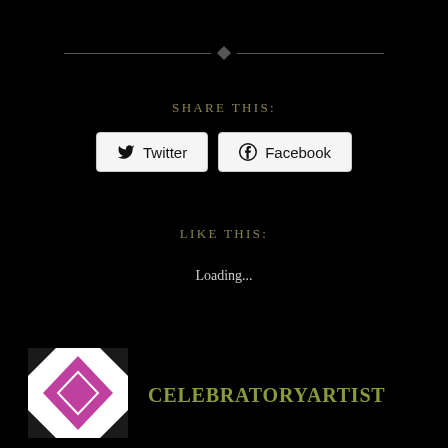[Figure (other): Decorative horizontal divider with a diamond shape in the center and lines on either side]
SHARE THIS:
Twitter
Facebook
LIKE THIS:
Loading...
[Figure (logo): Geometric logo with a pink/magenta diamond shape on a white and black patterned square background]
CELEBRATORYARTIST